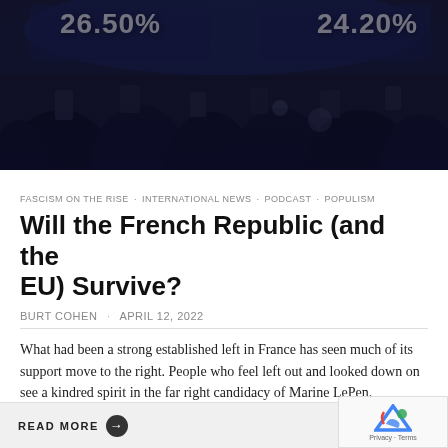[Figure (photo): Dark photo of a crowd of journalists/photographers at an election event, with large white percentage numbers '26.50%' and '24.20%' displayed on screens in the background]
FASCISM ON THE RISE · INTERNATIONAL NEWS · PODCAST · POPULISM
Will the French Republic (and the EU) Survive?
BURT COHEN · APRIL 12, 2022
What had been a strong established left in France has seen much of its support move to the right. People who feel left out and looked down on see a kindred spirit in the far right candidacy of Marine LePen.
READ MORE